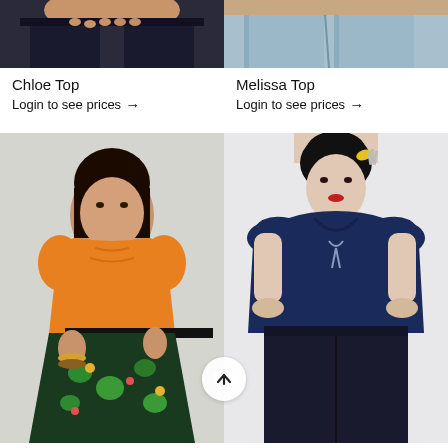[Figure (photo): Cropped bottom portion of a model wearing dark jeans and black top, hands on hips, left product (Chloe Top)]
[Figure (photo): Cropped bottom portion of a model wearing light blue denim jeans, right product (Melissa Top)]
Chloe Top
Login to see prices →
Melissa Top
Login to see prices →
[Figure (photo): Full-length photo of a plus-size model wearing an orange short-sleeve top with ruched neckline and black belt over a tropical-print green/floral skirt, on grey background]
[Figure (photo): Photo of a model with dark upswept hair and yellow hair accessory, wearing a navy blue off-shoulder fitted top with tie front detail, on light background]